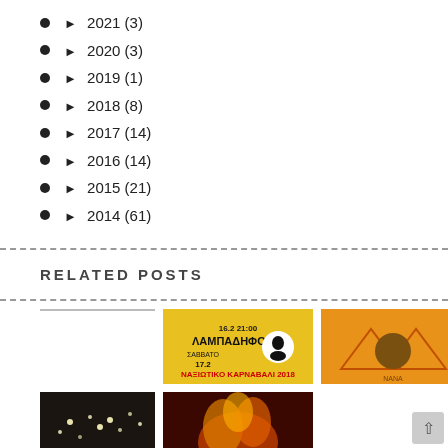► 2021 (3)
► 2020 (3)
► 2019 (1)
► 2018 (8)
► 2017 (14)
► 2016 (14)
► 2015 (21)
► 2014 (61)
RELATED POSTS
[Figure (photo): White area with horizontal line at top]
[Figure (photo): Carnival / Lampadiforia event poster with Greek text]
[Figure (photo): Orange album cover with guitar and triangle shapes]
[Figure (photo): Crowd with lights at night event]
[Figure (photo): Fire/flames photo]